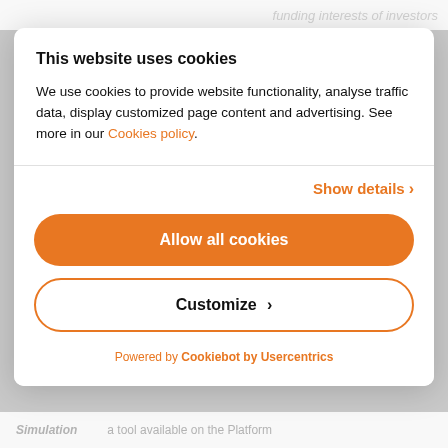funding interests of investors
This website uses cookies
We use cookies to provide website functionality, analyse traffic data, display customized page content and advertising. See more in our Cookies policy.
Show details ›
Allow all cookies
Customize ›
Powered by Cookiebot by Usercentrics
Simulation   a tool available on the Platform